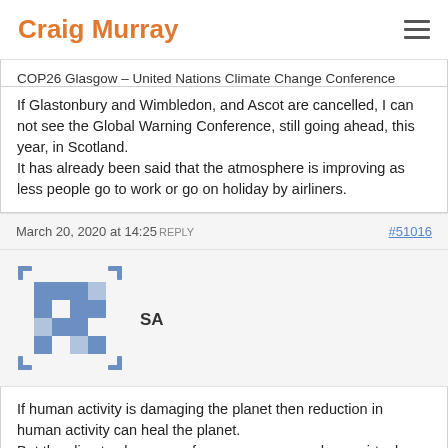Craig Murray
COP26 Glasgow – United Nations Climate Change Conference
If Glastonbury and Wimbledon, and Ascot are cancelled, I can not see the Global Warning Conference, still going ahead, this year, in Scotland.
It has already been said that the atmosphere is improving as less people go to work or go on holiday by airliners.
March 20, 2020 at 14:25 REPLY  #51016
SA
If human activity is damaging the planet then reduction in human activity can heal the planet.
But the climate change conference can proceed as a virtual conference sending a strong message that it is only by changing